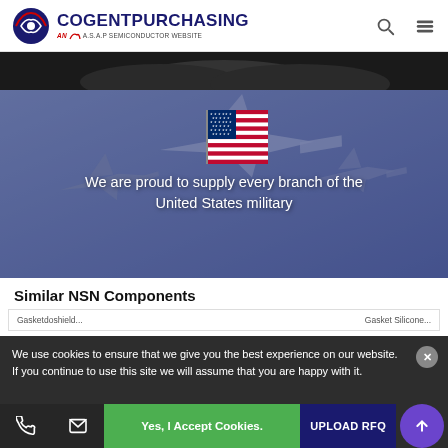COGENTPURCHASING AN A.S.A.P SEMICONDUCTOR WEBSITE
[Figure (photo): Dark image strip showing partial aircraft view]
[Figure (photo): Military jet fighters in formation with US flag overlay and text: We are proud to supply every branch of the United States military]
Similar NSN Components
We use cookies to ensure that we give you the best experience on our website. If you continue to use this site we will assume that you are happy with it.